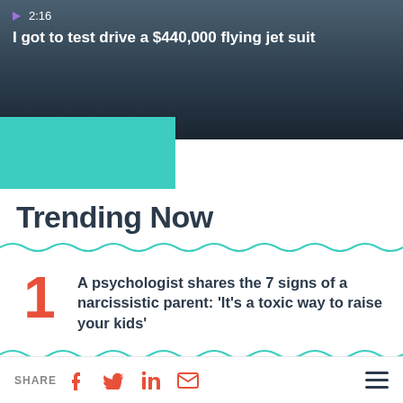[Figure (screenshot): Video thumbnail showing a person in silhouette against a sky background, with play button icon, timestamp 2:16, and title overlay]
I got to test drive a $440,000 flying jet suit
Trending Now
A psychologist shares the 7 signs of a narcissistic parent: ‘It’s a toxic way to raise your kids’
The 10 most in-demand work-from-anywhere jobs companies are hiring for in
SHARE